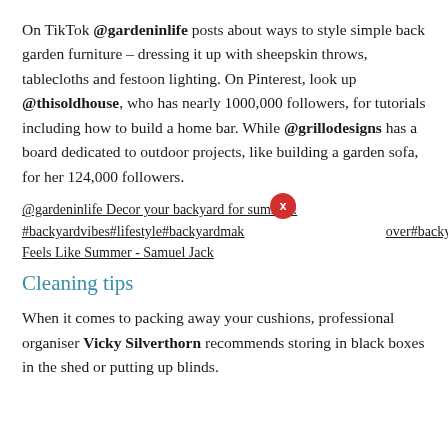On TikTok @gardeninlife posts about ways to style simple back garden furniture – dressing it up with sheepskin throws, tablecloths and festoon lighting. On Pinterest, look up @thisoldhouse, who has nearly 1000,000 followers, for tutorials including how to build a home bar. While @grillodesigns has a board dedicated to outdoor projects, like building a garden sofa, for her 124,000 followers.
@gardeninlife Decor your backyard for summer! #backyardvibes#lifestyle#backyardmakeover#backyardgarden#g Feels Like Summer - Samuel Jack
Cleaning tips
When it comes to packing away your cushions, professional organiser Vicky Silverthorn recommends storing in black boxes in the shed or putting up blinds.